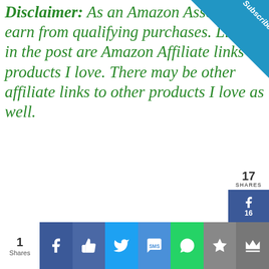Disclaimer: As an Amazon Associate I earn from qualifying purchases. Links in the post are Amazon Affiliate links to products I love. There may be other affiliate links to other products I love as well.
[Figure (infographic): Subscribe ribbon in top-right corner, blue triangular shape with white italic text 'Subscribe']
[Figure (infographic): Social share sidebar: 17 SHARES count, Facebook button (16 shares), Twitter button, Pinterest button (1 share)]
[Figure (screenshot): Video player area with gray background, title 'Peace, Calm & Memories : Candle...' and message 'No compatible source was found for this media.' with an X close icon]
[Figure (infographic): Bottom social sharing bar: 1 Shares, Facebook, Like, Twitter, SMS, WhatsApp, Star, Crown icons]